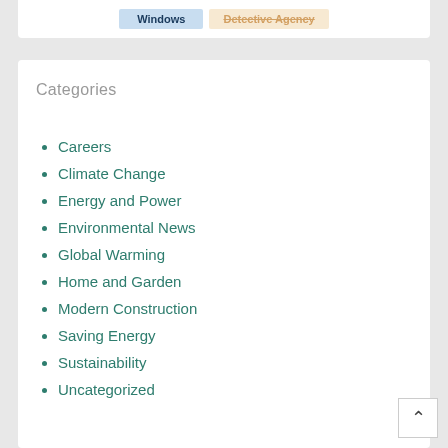[Figure (screenshot): Top card with two buttons: 'Windows' (blue) and 'Detective Agency' (orange/gold, struck through)]
Categories
Careers
Climate Change
Energy and Power
Environmental News
Global Warming
Home and Garden
Modern Construction
Saving Energy
Sustainability
Uncategorized